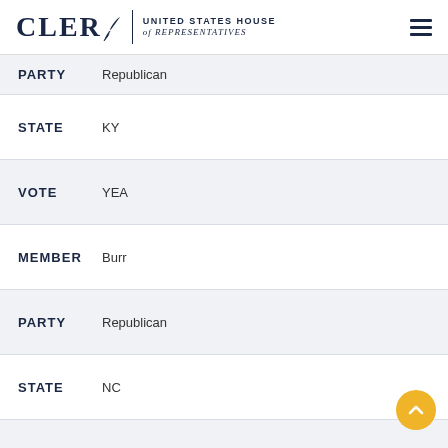CLERK United States House of Representatives
PARTY  Republican
STATE  KY
VOTE  YEA
MEMBER  Burr
PARTY  Republican
STATE  NC
VOTE  YEA
MEMBER  Burton